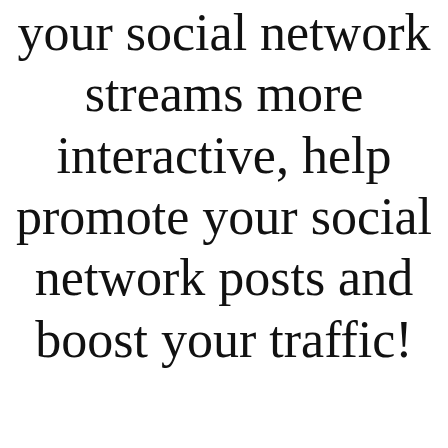your social network streams more interactive, help promote your social network posts and boost your traffic!